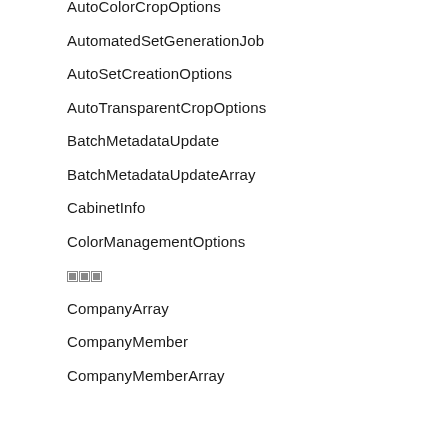AutoColorCropOptions
AutomatedSetGenerationJob
AutoSetCreationOptions
AutoTransparentCropOptions
BatchMetadataUpdate
BatchMetadataUpdateArray
CabinetInfo
ColorManagementOptions
[icon]
CompanyArray
CompanyMember
CompanyMemberArray